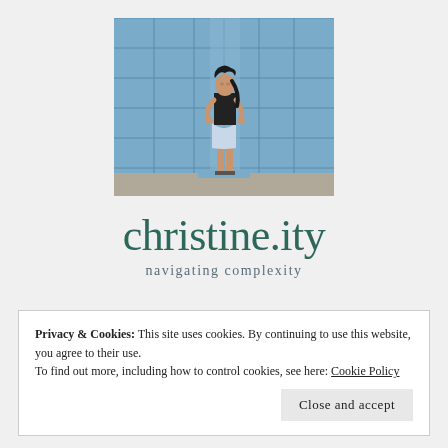[Figure (photo): A woman in a black top and denim skirt standing in front of a blue tiled/paneled wall, looking upward with hands on hips.]
christine.ity
navigating complexity
Privacy & Cookies: This site uses cookies. By continuing to use this website, you agree to their use.
To find out more, including how to control cookies, see here: Cookie Policy
Close and accept